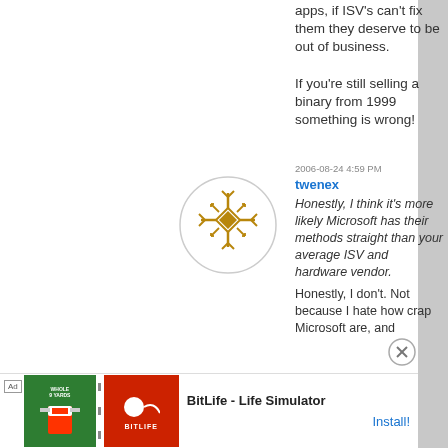apps, if ISV's can't fix them they deserve to be out of business.

If you're still selling a binary from 1999 something is wrong!
2006-08-24 4:59 PM
twenex
Honestly, I think it's more likely Microsoft has their methods straight than your average ISV and hardware vendor.
Honestly, I don't. Not because I hate how crap Microsoft are, and
[Figure (illustration): Circular avatar icon with a golden/dark yellow snowflake or geometric pattern design on white background with circular border]
Ad  BitLife - Life Simulator  Install!